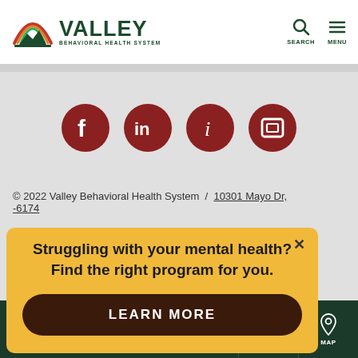[Figure (logo): Valley Behavioral Health System logo with rainbow arch and mountain silhouette]
VALLEY BEHAVIORAL HEALTH SYSTEM | SEARCH | MENU
[Figure (infographic): Four dark red circular social media icons: Facebook (f), LinkedIn (in), Instagram (i), and a fourth icon]
© 2022 Valley Behavioral Health System / 10301 Mayo Dr, -6174
please call Valley 671-6174.
nline Privacy Policy
es & Pricing
[Figure (infographic): Yellow popup banner: 'Struggling with your mental health? Find the right program for you.' with LEARN MORE button and X close button]
CALL 24/7 (888) 671-6174 | EMAIL | MAP